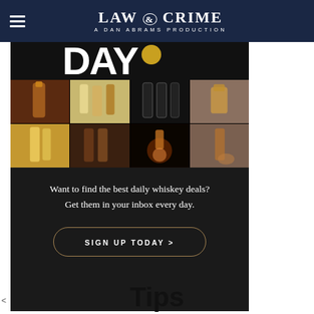LAW & CRIME — A DAN ABRAMS PRODUCTION
[Figure (photo): Whiskey Day Deal advertisement block with grid of whiskey bottle photos, text 'Want to find the best daily whiskey deals? Get them in your inbox every day.' and a 'SIGN UP TODAY >' button on dark background]
Want to find the best daily whiskey deals? Get them in your inbox every day.
SIGN UP TODAY >
Tips